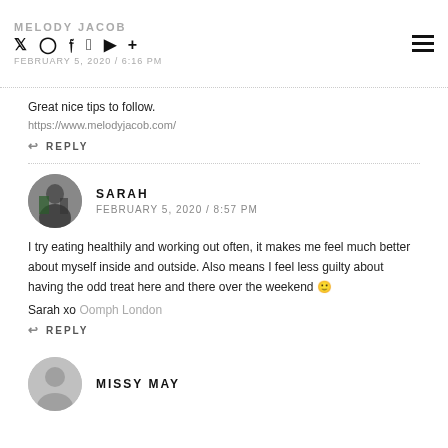MELODY JACOB | FEBRUARY 5, 2020 / 6:16 PM | social icons | hamburger menu
Great nice tips to follow.
https://www.melodyjacob.com/
REPLY
SARAH
FEBRUARY 5, 2020 / 8:57 PM
I try eating healthily and working out often, it makes me feel much better about myself inside and outside. Also means I feel less guilty about having the odd treat here and there over the weekend 🙂

Sarah xo Oomph London
REPLY
MISSY MAY